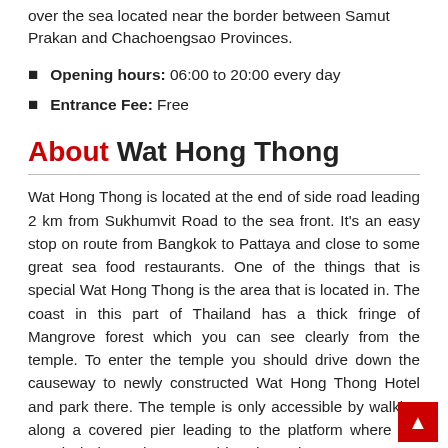over the sea located near the border between Samut Prakan and Chachoengsao Provinces.
Opening hours: 06:00 to 20:00 every day
Entrance Fee: Free
About Wat Hong Thong
Wat Hong Thong is located at the end of side road leading 2 km from Sukhumvit Road to the sea front. It's an easy stop on route from Bangkok to Pattaya and close to some great sea food restaurants. One of the things that is special Wat Hong Thong is the area that is located in. The coast in this part of Thailand has a thick fringe of Mangrove forest which you can see clearly from the temple. To enter the temple you should drive down the causeway to newly constructed Wat Hong Thong Hotel and park there. The temple is only accessible by walking along a covered pier leading to the platform where the temple is located. As you drive down the causeway you will pass the start of the pier where the